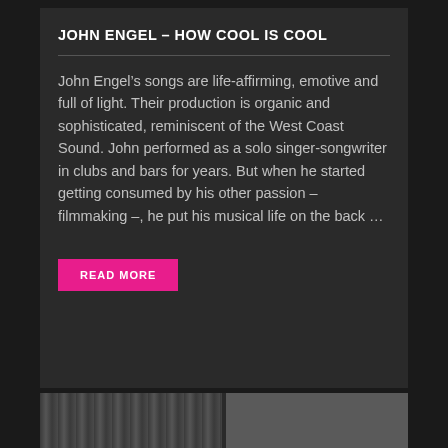JOHN ENGEL – HOW COOL IS COOL
John Engel's songs are life-affirming, emotive and full of light. Their production is organic and sophisticated, reminiscent of the West Coast Sound. John performed as a solo singer-songwriter in clubs and bars for years. But when he started getting consumed by his other passion – filmmaking –, he put his musical life on the back …
READ MORE
[Figure (photo): Two black-and-white photo thumbnails visible at bottom of page]